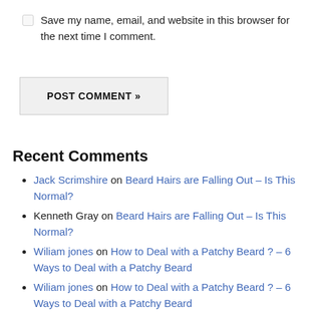Save my name, email, and website in this browser for the next time I comment.
POST COMMENT »
Recent Comments
Jack Scrimshire on Beard Hairs are Falling Out – Is This Normal?
Kenneth Gray on Beard Hairs are Falling Out – Is This Normal?
Wiliam jones on How to Deal with a Patchy Beard ? – 6 Ways to Deal with a Patchy Beard
Wiliam jones on How to Deal with a Patchy Beard ? – 6 Ways to Deal with a Patchy Beard
Diane Kunkel on Beard Wash vs. Hair Shampoo: Which is Better?